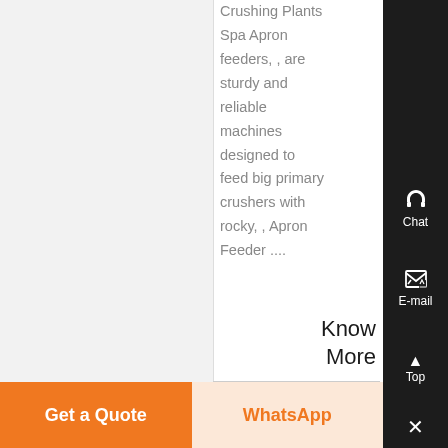Crushing Plants Spa Apron feeders, , are sturdy and reliable machines designed to feed big primary crushers with rocky, , Apron Feeder ....
Know More
Chat
E-mail
Top
Get a Quote
WhatsApp